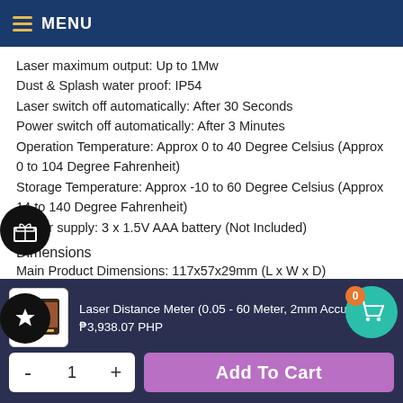MENU
Laser maximum output: Up to 1Mw
Dust & Splash water proof: IP54
Laser switch off automatically: After 30 Seconds
Power switch off automatically: After 3 Minutes
Operation Temperature: Approx 0 to 40 Degree Celsius (Approx 0 to 104 Degree Fahrenheit)
Storage Temperature: Approx -10 to 60 Degree Celsius (Approx 14 to 140 Degree Fahrenheit)
Power supply: 3 x 1.5V AAA battery (Not Included)
Dimensions
Main Product Dimensions: 117x57x29mm (L x W x D)
Main Product Weight: 104g
Laser Distance Meter (0.05 - 60 Meter, 2mm Accurac
₱3,938.07 PHP
Add To Cart